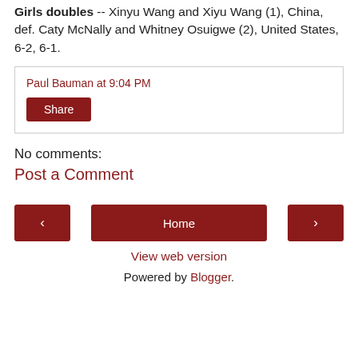Boys doubles -- Yankı Erel, Turkey, and Otto Virtanen, Finland, def. Nicolas Mejia, Colombia, and Ondrej Styler (6), Czech Republic.
    Girls doubles -- Xinyu Wang and Xiyu Wang (1), China, def. Caty McNally and Whitney Osuigwe (2), United States, 6-2, 6-1.
Paul Bauman at 9:04 PM
Share
No comments:
Post a Comment
‹
Home
›
View web version
Powered by Blogger.